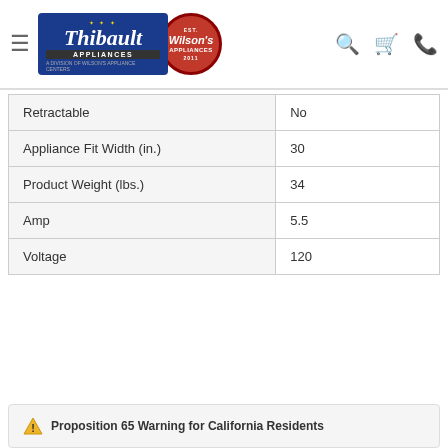[Figure (logo): Thibault Appliances logo with Wilson's Appliance Centers circular badge, plus navigation icons (hamburger menu, search, cart, phone)]
| Retractable | No |
| Appliance Fit Width (in.) | 30 |
| Product Weight (lbs.) | 34 |
| Amp | 5.5 |
| Voltage | 120 |
⚠ Proposition 65 Warning for California Residents